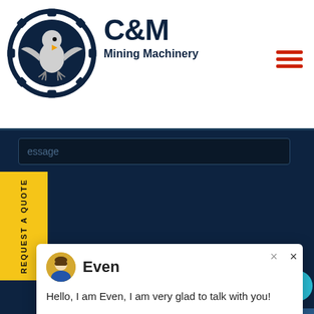[Figure (logo): C&M Mining Machinery logo with eagle in gear circle and company name]
[Figure (screenshot): Dark navy blue website interface with message input field, yellow REQUEST A QUOTE sidebar, Submit Now button in red, and customer service chat popup showing agent named Even]
Even
Hello, I am Even, I am very glad to talk with you!
Submit Now
Click to Chat
Enquiry